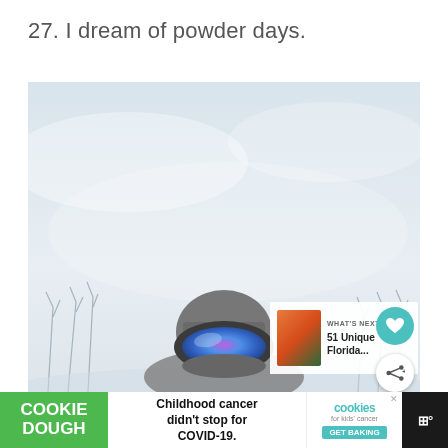27. I dream of powder days.
[Figure (photo): A skier or snowboarder wearing ski goggles with a colorful mirrored lens (purple/blue), a grey beanie, and a grey jacket. The background is a washed-out winter sky with bare trees. The figure is seen from behind/side, positioned at the bottom of the frame.]
WHAT'S NEXT → 51 Unique Florida...
Childhood cancer didn't stop for COVID-19.
COOKIE DOUGH
cookies for kids' cancer GET BAKING